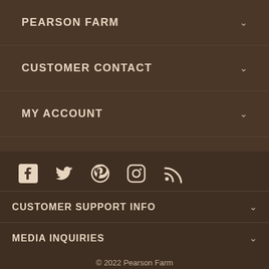PEARSON FARM
CUSTOMER CONTACT
MY ACCOUNT
[Figure (infographic): Social media icons: Facebook, Twitter, Pinterest, Instagram, RSS]
CUSTOMER SUPPORT INFO
MEDIA INQUIRIES
© 2022 Pearson Farm